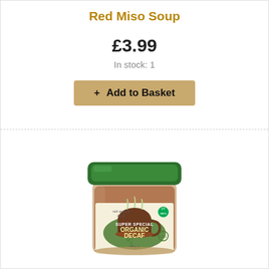Red Miso Soup
£3.99
In stock: 1
+ Add to Basket
[Figure (photo): Clipper Super Special Organic Decaf instant coffee jar with green lid, cream label showing a steaming coffee cup, rich arabica decaf text, and Fairtrade logo]